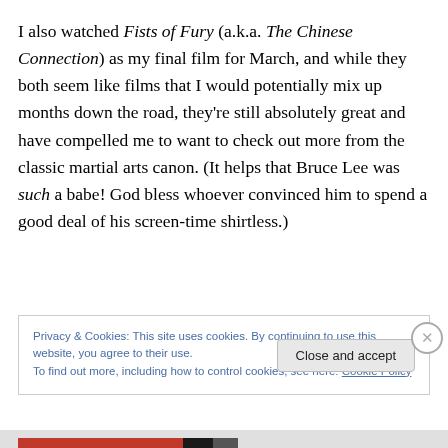I also watched Fists of Fury (a.k.a. The Chinese Connection) as my final film for March, and while they both seem like films that I would potentially mix up months down the road, they're still absolutely great and have compelled me to want to check out more from the classic martial arts canon. (It helps that Bruce Lee was such a babe! God bless whoever convinced him to spend a good deal of his screen-time shirtless.)
Privacy & Cookies: This site uses cookies. By continuing to use this website, you agree to their use.
To find out more, including how to control cookies, see here: Cookie Policy